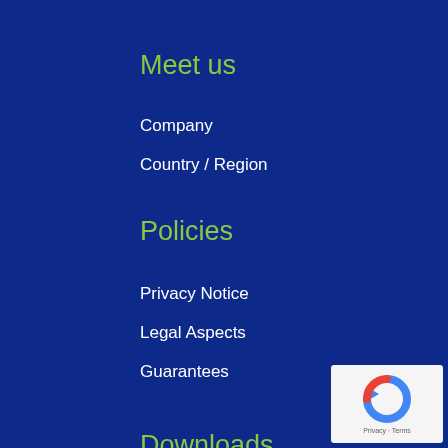Meet us
Company
Country / Region
Policies
Privacy Notice
Legal Aspects
Guarantees
Downloads
Catalogs
Downloads
[Figure (logo): reCAPTCHA badge with Privacy and Terms links]